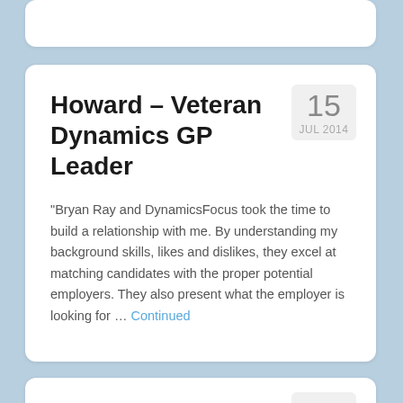Howard – Veteran Dynamics GP Leader
“Bryan Ray and DynamicsFocus took the time to build a relationship with me. By understanding my background skills, likes and dislikes, they excel at matching candidates with the proper potential employers. They also present what the employer is looking for … Continued
Ken – Leading Dynamics Sales